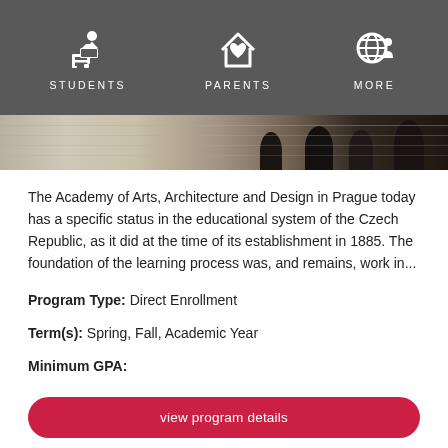STUDENTS   PARENTS   MORE
[Figure (photo): Photo strip of students sitting outdoors on steps, viewed from behind, dark silhouettes against a light background]
The Academy of Arts, Architecture and Design in Prague today has a specific status in the educational system of the Czech Republic, as it did at the time of its establishment in 1885. The foundation of the learning process was, and remains, work in...
Program Type: Direct Enrollment
Term(s): Spring, Fall, Academic Year
Minimum GPA:
view program details